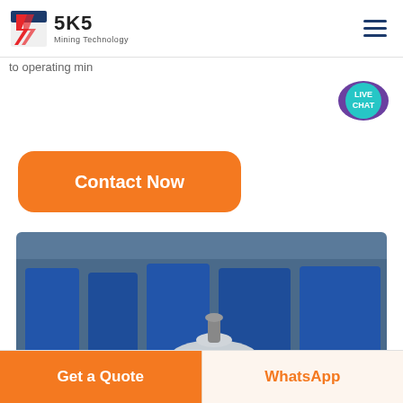[Figure (logo): SKS Mining Technology logo with red lightning bolt graphic and dark blue text]
to operating min
[Figure (illustration): Live Chat speech bubble icon in teal/purple with text LIVE CHAT]
Contact Now
[Figure (photo): Industrial mining machinery photo showing silver pressure vessel/accumulator in foreground, red component and blue machines in background inside a factory]
Get a Quote
WhatsApp